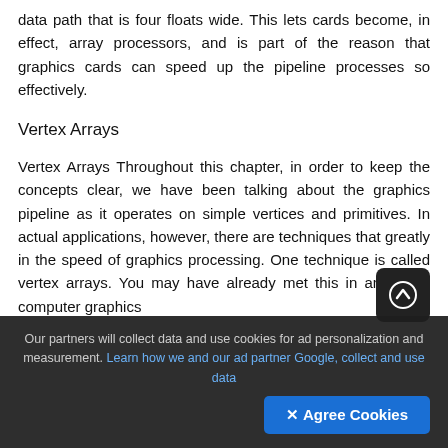data path that is four floats wide. This lets cards become, in effect, array processors, and is part of the reason that graphics cards can speed up the pipeline processes so effectively.
Vertex Arrays
Vertex Arrays Throughout this chapter, in order to keep the concepts clear, we have been talking about the graphics pipeline as it operates on simple vertices and primitives. In actual applications, however, there are techniques that greatly in the speed of graphics processing. One technique is called vertex arrays. You may have already met this in an earlier computer graphics
Our partners will collect data and use cookies for ad personalization and measurement. Learn how we and our ad partner Google, collect and use data
✕ Agree Cookies